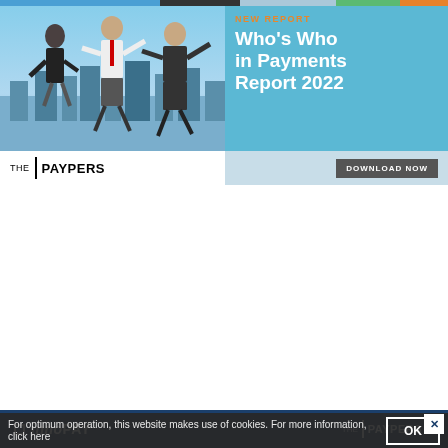[Figure (illustration): Top banner advertisement for The Paypers 'Who's Who in Payments Report 2022'. Left side shows photo of three people jumping in business attire against a city skyline. Right side has blue background with 'NEW REPORT' in orange, 'Who's Who in Payments Report 2022' in white, and a 'DOWNLOAD NOW' button. The Paypers logo at bottom left.]
[Figure (illustration): InnoPAY and The Paypers co-branded advertisement on dark blue background with Bitcoin/crypto circle graphic. Headline: 'Are you buying into crypto and Web 3.0?' Subtext: 'Let us know by taking a short survey'. Yellow 'TAKE THE SURVEY' button. Close X button top right.]
For optimum operation, this website makes use of cookies. For more information, click here
OK